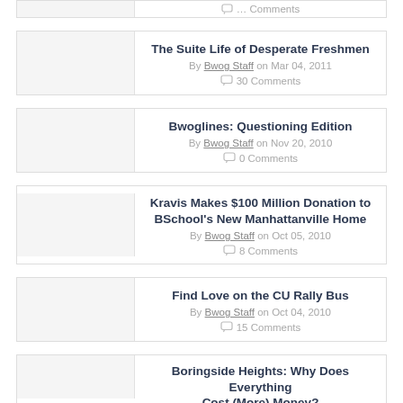… Comments (partial top card)
The Suite Life of Desperate Freshmen — By Bwog Staff on Mar 04, 2011 — 30 Comments
Bwoglines: Questioning Edition — By Bwog Staff on Nov 20, 2010 — 0 Comments
Kravis Makes $100 Million Donation to BSchool's New Manhattanville Home — By Bwog Staff on Oct 05, 2010 — 8 Comments
Find Love on the CU Rally Bus — By Bwog Staff on Oct 04, 2010 — 15 Comments
Boringside Heights: Why Does Everything Cost (More) Money? (partial bottom card)